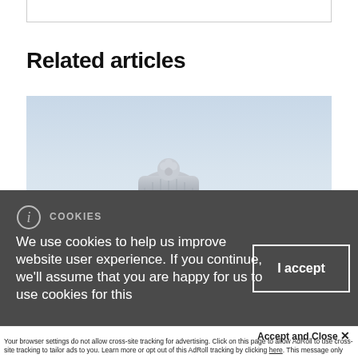Related articles
[Figure (photo): A person from behind wearing a knit winter hat with pompom, standing in a snowy/wintry outdoor scene with blue-grey sky]
COOKIES
We use cookies to help us improve website user experience. If you continue, we'll assume that you are happy for us to use cookies for this purpose.
I accept
Accept and Close ✕
Your browser settings do not allow cross-site tracking for advertising. Click on this page to allow AdRoll to use cross-site tracking to tailor ads to you. Learn more or opt out of this AdRoll tracking by clicking here. This message only appears once.